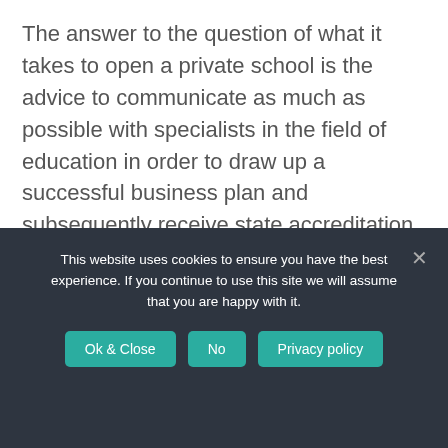The answer to the question of what it takes to open a private school is the advice to communicate as much as possible with specialists in the field of education in order to draw up a successful business plan and subsequently receive state accreditation.
YOU MAY ALSO LIKE
[Figure (illustration): Green-tinted illustration of a building with towers/turrets, partially visible at the bottom of the page]
This website uses cookies to ensure you have the best experience. If you continue to use this site we will assume that you are happy with it.